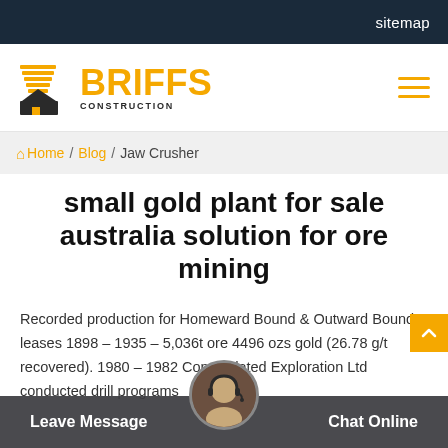sitemap
[Figure (logo): Briffs Construction logo with building icon and orange text]
Home / Blog / Jaw Crusher
small gold plant for sale australia solution for ore mining
Recorded production for Homeward Bound & Outward Bound leases 1898 – 1935 – 5,036t ore 4496 ozs gold (26.78 g/t recovered). 1980 – 1982 Consolidated Exploration Ltd conducted drill programs